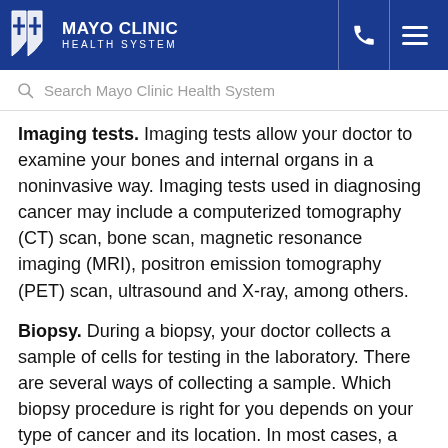MAYO CLINIC HEALTH SYSTEM
Search Mayo Clinic Health System
Imaging tests. Imaging tests allow your doctor to examine your bones and internal organs in a noninvasive way. Imaging tests used in diagnosing cancer may include a computerized tomography (CT) scan, bone scan, magnetic resonance imaging (MRI), positron emission tomography (PET) scan, ultrasound and X-ray, among others.
Biopsy. During a biopsy, your doctor collects a sample of cells for testing in the laboratory. There are several ways of collecting a sample. Which biopsy procedure is right for you depends on your type of cancer and its location. In most cases, a biopsy is the only way to definitively diagnose cancer.